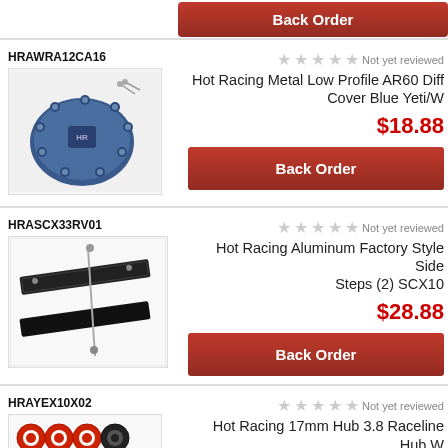[Figure (other): Back Order button at top of page (partial)]
HRAWRA12CA16
[Figure (photo): Blue metal AR60 diff cover with screws]
Not yet reviewed
Hot Racing Metal Low Profile AR60 Diff Cover Blue Yeti/W
$18.88
[Figure (other): Back Order button]
HRASCX33RV01
[Figure (photo): Aluminum factory style side steps (2) SCX10]
Not yet reviewed
Hot Racing Aluminum Factory Style Side Steps (2) SCX10
$28.88
[Figure (other): Back Order button]
HRAYEX10X02
[Figure (photo): Red and black hub adapter parts]
Not yet reviewed
Hot Racing 17mm Hub 3.8 Raceline Hub W Serrated Nuts Yeti
$43.88